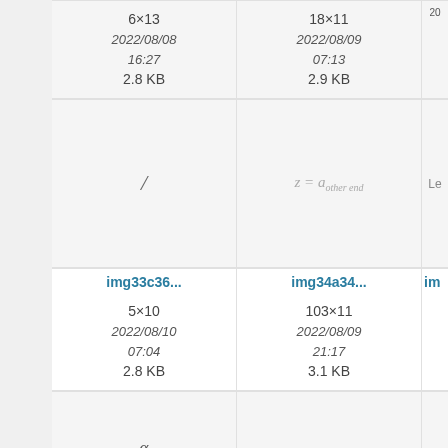| Col1 | Col2 | Col3(partial) |
| --- | --- | --- |
| 6×13
2022/08/08
16:27
2.8 KB | 18×11
2022/08/09
07:13
2.9 KB | 20... |
| / (formula) | z = a_other end | Le... |
| img33c36...
5×10
2022/08/10
07:04
2.8 KB | img34a34...
103×11
2022/08/09
21:17
3.1 KB | im... |
| α / (6 + √2) (formula) | tan | (partial) |
| img34eee...
56×37
2022/08/10... | img35e90...
26×12
2022/08/10... | im... |